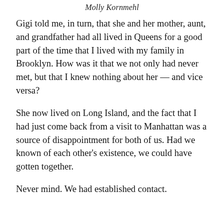Molly Kornmehl
Gigi told me, in turn, that she and her mother, aunt, and grandfather had all lived in Queens for a good part of the time that I lived with my family in Brooklyn. How was it that we not only had never met, but that I knew nothing about her — and vice versa?
She now lived on Long Island, and the fact that I had just come back from a visit to Manhattan was a source of disappointment for both of us. Had we known of each other's existence, we could have gotten together.
Never mind. We had established contact.